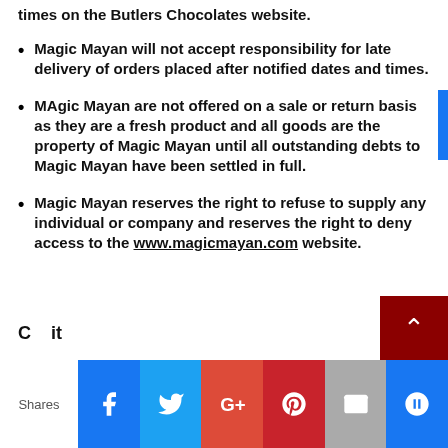times on the Butlers Chocolates website.
Magic Mayan will not accept responsibility for late delivery of orders placed after notified dates and times.
MAgic Mayan are not offered on a sale or return basis as they are a fresh product and all goods are the property of Magic Mayan until all outstanding debts to Magic Mayan have been settled in full.
Magic Mayan reserves the right to refuse to supply any individual or company and reserves the right to deny access to the www.magicmayan.com website.
Shares | Facebook | Twitter | Google+ | Pinterest | Email | Other